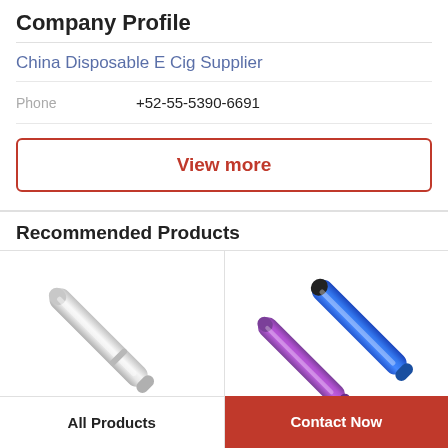Company Profile
China Disposable E Cig Supplier
| Phone | +52-55-5390-6691 |
| --- | --- |
View more
Recommended Products
[Figure (photo): Silver disposable e-cigarette pen angled diagonally]
[Figure (photo): Blue and purple disposable e-cigarettes crossed over each other]
All Products
Contact Now